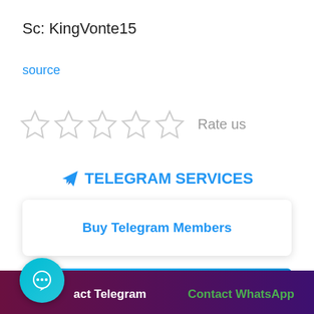Sc: KingVonte15
source
[Figure (other): Five empty star rating icons followed by text 'Rate us']
✈ TELEGRAM SERVICES
Buy Telegram Members
[Figure (other): Blue gradient bar at bottom]
Contact Telegram   Contact WhatsApp